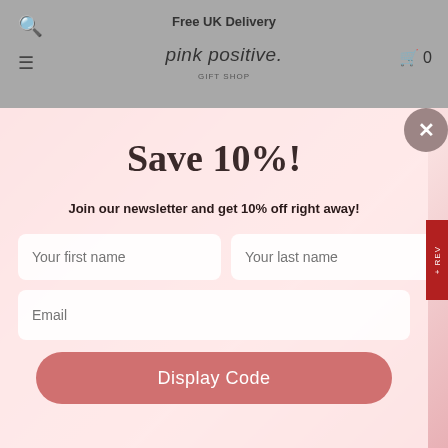Free UK Delivery
[Figure (screenshot): Pink Positive e-commerce website header with search icon, hamburger menu, brand logo 'pink positive.', and cart icon showing 0 items]
Save 10%!
Join our newsletter and get 10% off right away!
Your first name | Your last name
Email
Display Code